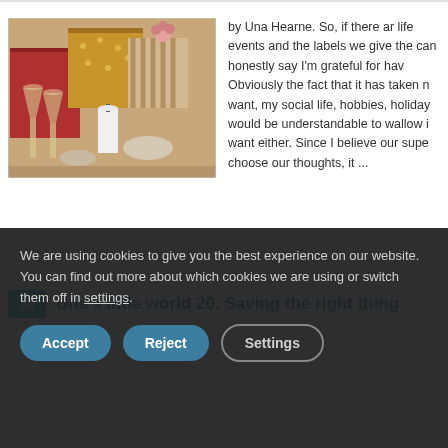[Figure (photo): Decorative photo showing gift boxes wrapped in gold polka-dot paper, red boxes, champagne glasses, white candles and crystal decorations arranged on a table.]
by Una Hearne. So, if there ar life events and the labels we give the can honestly say I'm grateful for hav Obviously the fact that it has taken n want, my social life, hobbies, holiday would be understandable to wallow i want either. Since I believe our supe choose our thoughts, it ...
Una's little world 20. Saving the right thing
We are using cookies to give you the best experience on our website.
You can find out more about which cookies we are using or switch them off in settings.